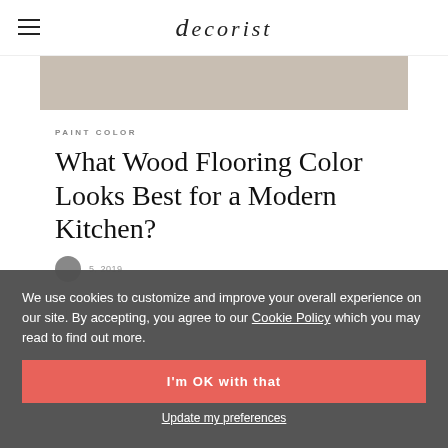decorist
[Figure (photo): Partial view of a wood flooring / kitchen image]
PAINT COLOR
What Wood Flooring Color Looks Best for a Modern Kitchen?
5, 2019
We use cookies to customize and improve your overall experience on our site. By accepting, you agree to our Cookie Policy which you may read to find out more.
I'm OK with that
Update my preferences
flooring color for your kitchen space.
I l...